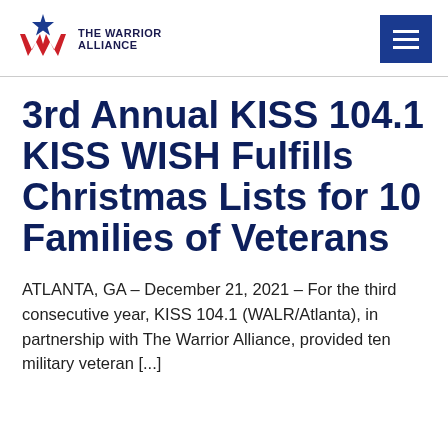THE WARRIOR ALLIANCE
3rd Annual KISS 104.1 KISS WISH Fulfills Christmas Lists for 10 Families of Veterans
ATLANTA, GA – December 21, 2021 – For the third consecutive year, KISS 104.1 (WALR/Atlanta), in partnership with The Warrior Alliance, provided ten military veteran [...]